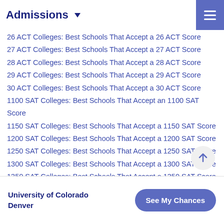Admissions ▼
26 ACT Colleges: Best Schools That Accept a 26 ACT Score
27 ACT Colleges: Best Schools That Accept a 27 ACT Score
28 ACT Colleges: Best Schools That Accept a 28 ACT Score
29 ACT Colleges: Best Schools That Accept a 29 ACT Score
30 ACT Colleges: Best Schools That Accept a 30 ACT Score
1100 SAT Colleges: Best Schools That Accept an 1100 SAT Score
1150 SAT Colleges: Best Schools That Accept a 1150 SAT Score
1200 SAT Colleges: Best Schools That Accept a 1200 SAT Score
1250 SAT Colleges: Best Schools That Accept a 1250 SAT Score
1300 SAT Colleges: Best Schools That Accept a 1300 SAT Score
1350 SAT Colleges: Best Schools That Accept a 1350 SAT Score
University of Colorado Denver | See My Chances